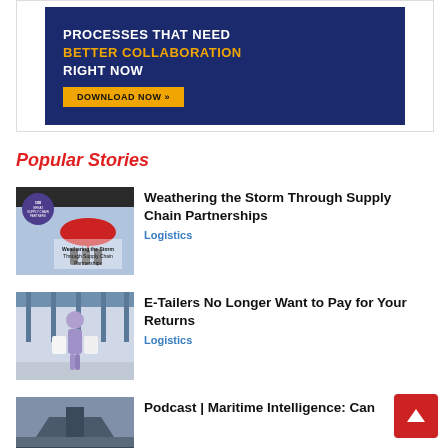[Figure (other): Advertisement banner with dark blue background showing text 'PROCESSES THAT NEED BETTER COLLABORATION RIGHT NOW' with a 'DOWNLOAD NOW >>' button in orange]
Popular Stories
[Figure (illustration): Thumbnail image showing book cover 'Weathering the Storm Through Supply Chain Partnerships' with red umbrella graphic]
Weathering the Storm Through Supply Chain Partnerships
Logistics
[Figure (photo): Thumbnail image showing a person in a shopping mall or logistics center]
E-Tailers No Longer Want to Pay for Your Returns
Logistics
[Figure (photo): Thumbnail image for maritime intelligence podcast article]
Podcast | Maritime Intelligence: Can